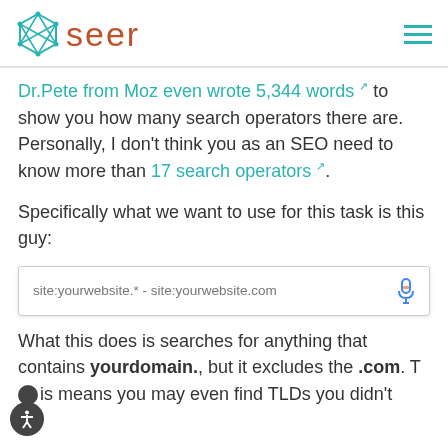seer
Dr.Pete from Moz even wrote 5,344 words [link icon] to show you how many search operators there are. Personally, I don't think you as an SEO need to know more than 17 search operators [link icon].
Specifically what we want to use for this task is this guy:
[Figure (screenshot): Google search bar showing query: site:yourwebsite.* - site:yourwebsite.com with a microphone icon on the right]
What this does is searches for anything that contains yourdomain., but it excludes the .com. This means you may even find TLDs you didn't know...